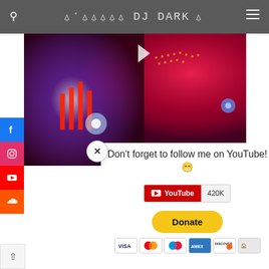DJ DARK
[Figure (screenshot): DJ Dark website screenshot with popup overlay showing YouTube follow prompt, social media sidebar, donate button, and payment icons]
Don't forget to follow me on YouTube! 😁
YouTube 420K
Donate
[Figure (illustration): Payment method icons: VISA, Mastercard, Maestro, American Express, Discover, bank transfer]